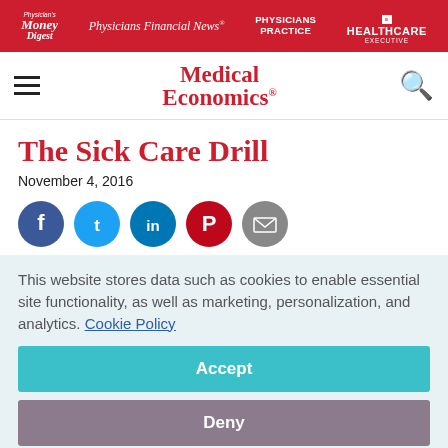Physician's Money Digest | Physicians Financial News | Physicians Practice | Becker's Healthcare Executive
[Figure (logo): Medical Economics logo in red serif font]
The Sick Care Drill
November 4, 2016
[Figure (infographic): Social sharing buttons: Facebook, Twitter, LinkedIn, Pinterest, Email]
This website stores data such as cookies to enable essential site functionality, as well as marketing, personalization, and analytics. Cookie Policy
Accept
Deny